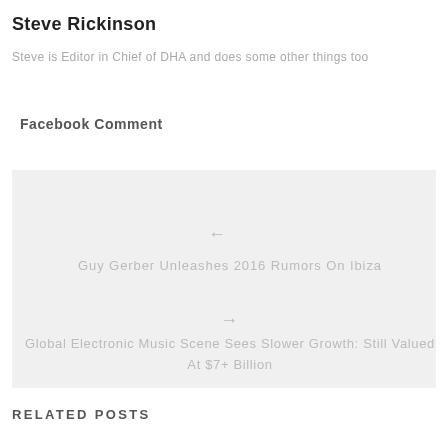Steve Rickinson
Steve is Editor in Chief of DHA and does some other things too
Facebook Comment
[Figure (other): Navigation box with previous article link (arrow left + 'Guy Gerber Unleashes 2016 Rumors On Ibiza') and next article link (arrow right + 'Global Electronic Music Scene Sees Slower Growth: Still Valued At $7+ Billion')]
RELATED POSTS